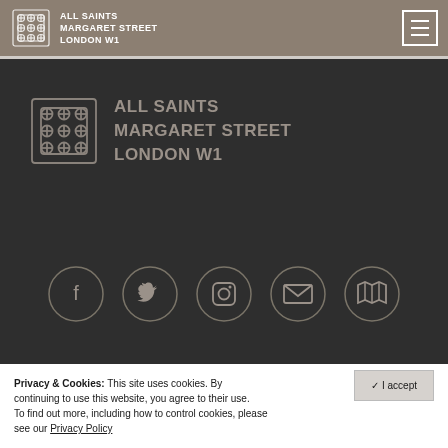ALL SAINTS MARGARET STREET LONDON W1
[Figure (logo): All Saints Margaret Street London W1 logo in footer dark section]
[Figure (infographic): Social media icons: Facebook, Twitter, Instagram, Email, Map]
Privacy & Cookies: This site uses cookies. By continuing to use this website, you agree to their use. To find out more, including how to control cookies, please see our Privacy Policy